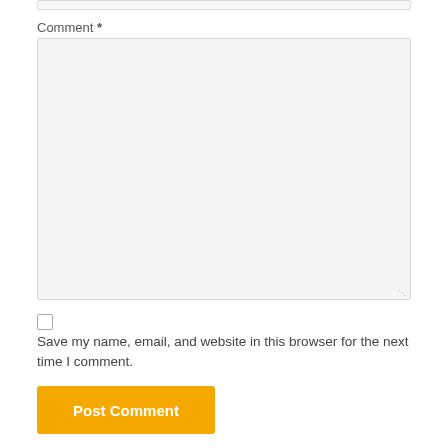Comment *
[Figure (screenshot): Empty comment textarea form field with light gray background]
Save my name, email, and website in this browser for the next time I comment.
Post Comment